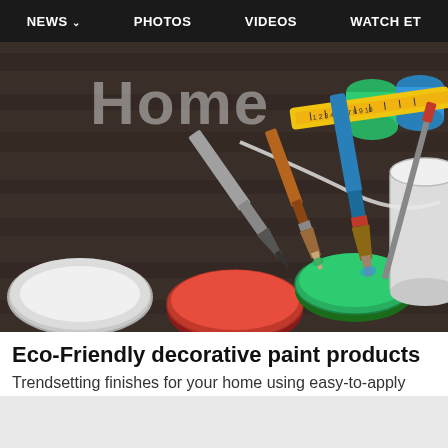NEWS  PHOTOS  VIDEOS  WATCH ET
[Figure (photo): Paint brushes and open cans of red, green, blue paint on a dark wooden surface with a measuring tape and white paint can lid, with text 'Home' partially visible at top]
Eco-Friendly decorative paint products
Trendsetting finishes for your home using easy-to-apply products!
Faux Effects International Inc | Sponsored